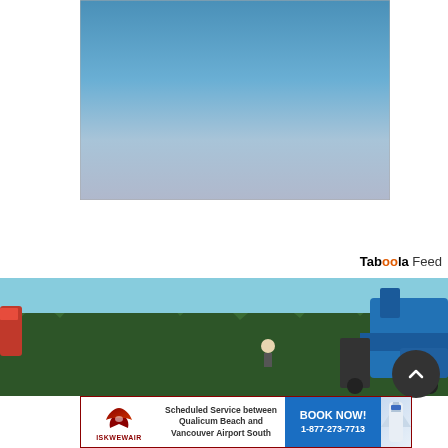[Figure (photo): Sky photo with gradient from blue at top to pale grayish-blue at bottom, framed with thin border]
Taboola Feed
[Figure (photo): Outdoor scene with trees (conifers) and a blue piece of machinery/equipment visible on right side, with a red object partially visible on the left]
[Figure (photo): Advertisement banner for ISKWEWAIR: Scheduled Service between Qualicum Beach and Vancouver Airport South - BOOK NOW! 1-877-273-7713, with airline logo and aircraft tail visible]